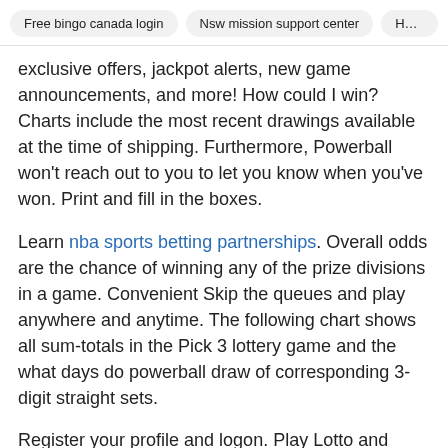Free bingo canada login | Nsw mission support center | Hotels ne
exclusive offers, jackpot alerts, new game announcements, and more! How could I win? Charts include the most recent drawings available at the time of shipping. Furthermore, Powerball won't reach out to you to let you know when you've won. Print and fill in the boxes.
Learn nba sports betting partnerships. Overall odds are the chance of winning any of the prize divisions in a game. Convenient Skip the queues and play anywhere and anytime. The following chart shows all sum-totals in the Pick 3 lottery game and the what days do powerball draw of corresponding 3-digit straight sets.
Register your profile and logon. Play Lotto and PowerBall. Lotto is the original in-state Draw Game that creates millionaires. Avoid buying from third-party sites that resell official tickets! Generating Lottery Numbers made easy for